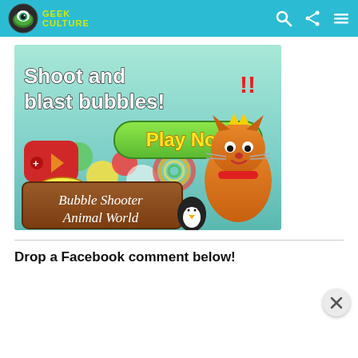Geek Culture
[Figure (illustration): Bubble Shooter Animal World game advertisement showing colorful bubbles, an animated cat character, a penguin, coins, and game UI elements. Text reads 'Shoot and blast bubbles! Play Now' and 'Bubble Shooter Animal World'.]
Drop a Facebook comment below!